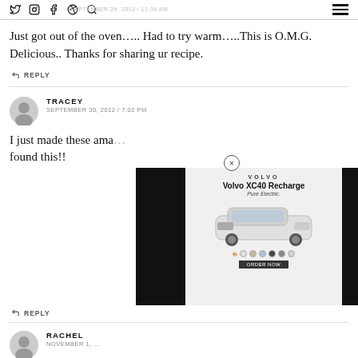SEPTEMBER 29, 2012 / 11:34 AM — social icons and hamburger menu
Just got out of the oven….. Had to try warm…..This is O.M.G. Delicious.. Thanks for sharing ur recipe.
↩ REPLY
TRACEY — SEPTEMBER 30, 2012 / 7:02 PM
I just made these ama… found this!!
[Figure (photo): Volvo XC40 Recharge Pure Electric advertisement overlay with close button, showing the car and color options with a CTA button. Left and right portions are black.]
↩ REPLY
RACHEL — NOVEMBER 1, …
I am fairly sure that the glass top ranges were created and